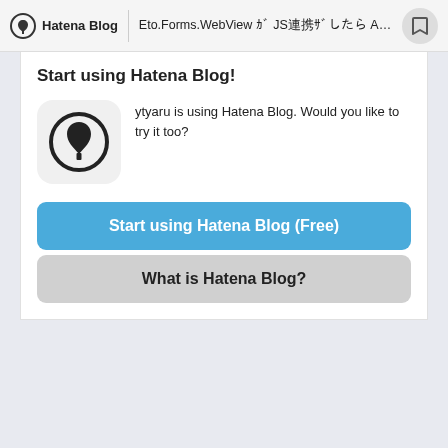Hatena Blog | Eto.Forms.WebView ｶﾞ JS連携ｻﾞしたらAc...
Start using Hatena Blog!
ytyaru is using Hatena Blog. Would you like to try it too?
[Figure (logo): Hatena Blog app icon — fountain pen nib inside a circle on a light gray rounded square background]
Start using Hatena Blog (Free)
What is Hatena Blog?